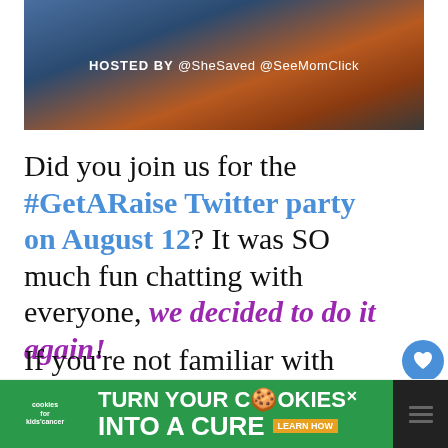[Figure (photo): Blog header image showing gift cards with text 'HOSTED BY @SheSaved @SeeMomClick' overlaid on a dark background with colorful cards]
Did you join us for the #GetARaise Twitter party on August 12? It was SO much fun chatting with everyone, we decided to do it again!
If you're not familiar with Raise, it's an online marketplace where you can buy and sell gift cards and
[Figure (infographic): Social share sidebar with heart icon (blue circle), count 411 (green rectangle), and share icon (green rounded bottom)]
[Figure (infographic): Advertisement banner: cookies for kids cancer - turn your cookies into a cure - learn how]